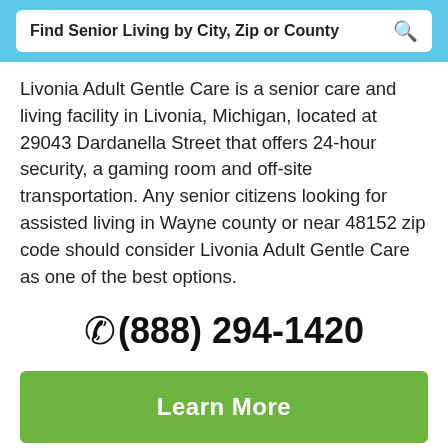Find Senior Living by City, Zip or County
Livonia Adult Gentle Care is a senior care and living facility in Livonia, Michigan, located at 29043 Dardanella Street that offers 24-hour security, a gaming room and off-site transportation. Any senior citizens looking for assisted living in Wayne county or near 48152 zip code should consider Livonia Adult Gentle Care as one of the best options.
(888) 294-1420
Learn More
View Pricing & Availability